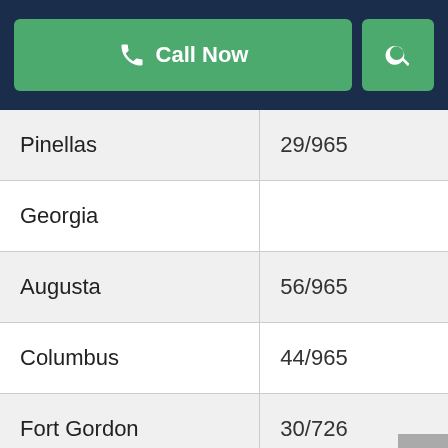Call Now | Search
| Pinellas | 29/965 |
| Georgia |  |
| Augusta | 56/965 |
| Columbus | 44/965 |
| Fort Gordon | 30/726 |
| Illinois |  |